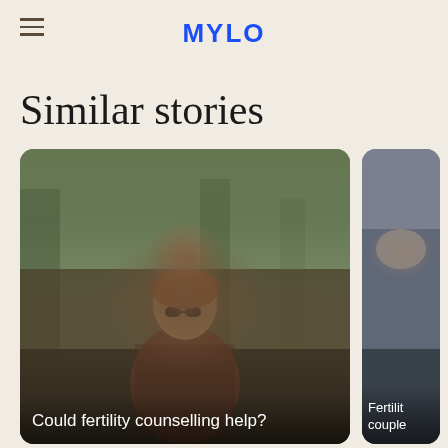MYLO
Similar stories
[Figure (photo): A person wearing sunglasses and a patterned jacket standing outdoors with trees and buildings in the background. The image is slightly blurred.]
Could fertility counselling help?
[Figure (photo): Partially visible second story card showing a blurred outdoor scene, partially cropped on the right edge of the screen.]
Fertilit couple